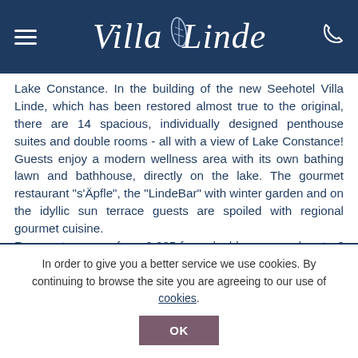Villa Linde (logo/header navigation)
Lake Constance. In the building of the new Seehotel Villa Linde, which has been restored almost true to the original, there are 14 spacious, individually designed penthouse suites and double rooms - all with a view of Lake Constance! Guests enjoy a modern wellness area with its own bathing lawn and bathhouse, directly on the lake. The gourmet restaurant "s'Äpfle", the "LindeBar" with winter garden and on the idyllic sun terrace guests are spoiled with regional gourmet cuisine.
Room rates range from € 205 for a double room and up to € 475 for a suite per night, including a delicious "Villa Linde" pampering breakfast.
In order to give you a better service we use cookies. By continuing to browse the site you are agreeing to our use of cookies.